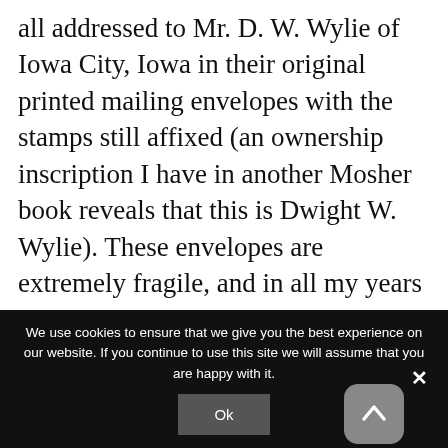all addressed to Mr. D. W. Wylie of Iowa City, Iowa in their original printed mailing envelopes with the stamps still affixed (an ownership inscription I have in another Mosher book reveals that this is Dwight W. Wylie). These envelopes are extremely fragile, and in all my years of collecting thousands of Mosher books and related items, how many such intact envelopes containing their original catalogues had I managed to find? Only
We use cookies to ensure that we give you the best experience on our website. If you continue to use this site we will assume that you are happy with it.